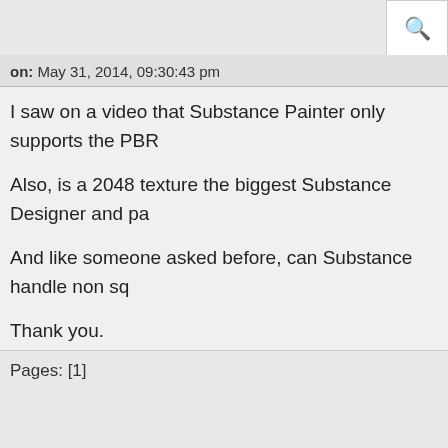[Figure (screenshot): Search icon in top right corner]
on: May 31, 2014, 09:30:43 pm
I saw on a video that Substance Painter only supports the PBR

Also, is a 2048 texture the biggest Substance Designer and pa

And like someone asked before, can Substance handle non sq

Thank you.
Pages: [1]